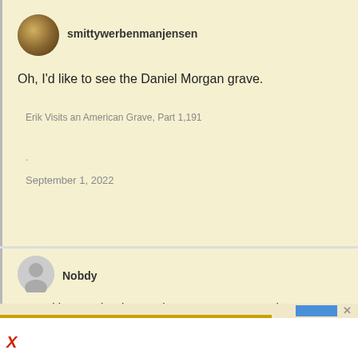smittywerbenmanjensen
Oh, I'd like to see the Daniel Morgan grave.
Erik Visits an American Grave, Part 1,191
.
September 1, 2022
Nobdy
"How'd it go at the doctor's honey?" "Not great. I have a fractured orbital socket and a broken rib." "I thought you went in because you had a rash on your arm." "Yeah but then